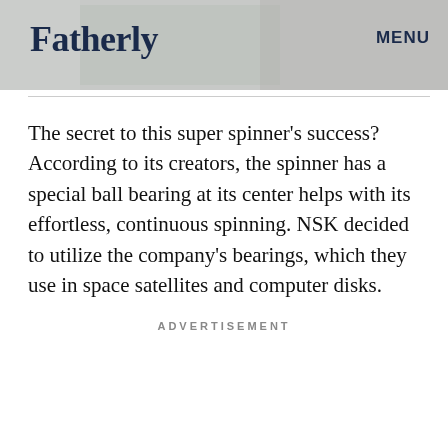Fatherly   MENU
The secret to this super spinner’s success? According to its creators, the spinner has a special ball bearing at its center helps with its effortless, continuous spinning. NSK decided to utilize the company’s bearings, which they use in space satellites and computer disks.
ADVERTISEMENT